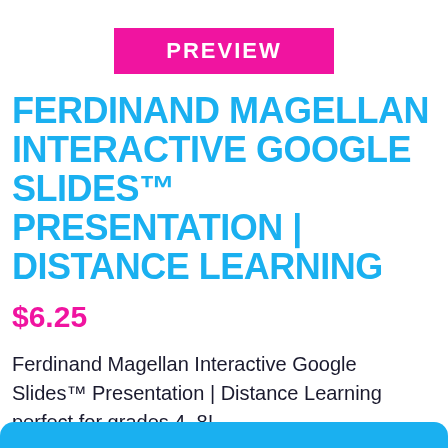PREVIEW
FERDINAND MAGELLAN INTERACTIVE GOOGLE SLIDES™ PRESENTATION | DISTANCE LEARNING
$6.25
Ferdinand Magellan Interactive Google Slides™ Presentation | Distance Learning perfect for grades 4–8!